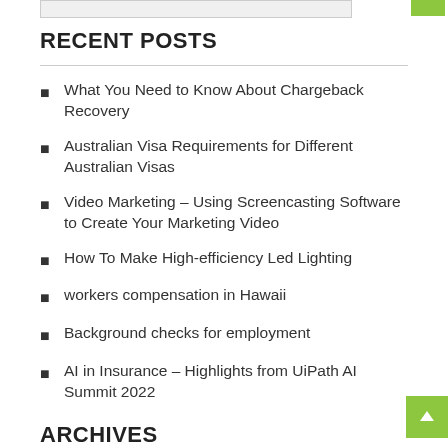RECENT POSTS
What You Need to Know About Chargeback Recovery
Australian Visa Requirements for Different Australian Visas
Video Marketing – Using Screencasting Software to Create Your Marketing Video
How To Make High-efficiency Led Lighting
workers compensation in Hawaii
Background checks for employment
AI in Insurance – Highlights from UiPath AI Summit 2022
ARCHIVES